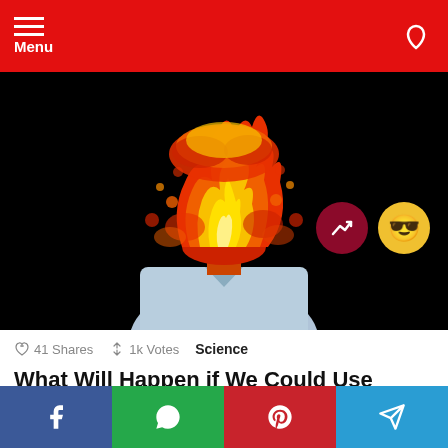Menu
[Figure (illustration): A person in a light blue shirt with their head replaced by a dramatic explosion of fire and flames in red, orange, and yellow tones against a black background. Two circular badges overlay the image: a dark red badge with a trending arrow icon, and a yellow smiley face with sunglasses emoji.]
41 Shares   1k Votes   Science
What Will Happen if We Could Use 100% of Our Brain?